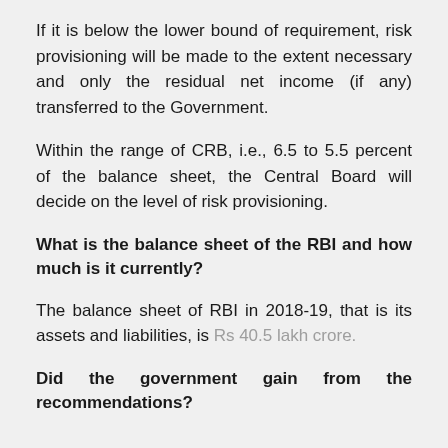If it is below the lower bound of requirement, risk provisioning will be made to the extent necessary and only the residual net income (if any) transferred to the Government.
Within the range of CRB, i.e., 6.5 to 5.5 percent of the balance sheet, the Central Board will decide on the level of risk provisioning.
What is the balance sheet of the RBI and how much is it currently?
The balance sheet of RBI in 2018-19, that is its assets and liabilities, is Rs 40.5 lakh crore.
Did the government gain from the recommendations?